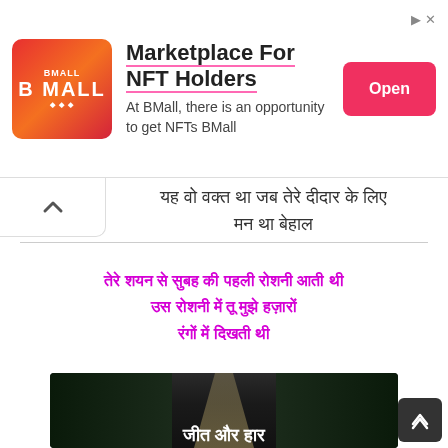[Figure (infographic): Advertisement banner for BMall NFT marketplace. Orange/red logo on left, title 'Marketplace For NFT Holders', description text, and red 'Open' button on right.]
यह वो वक्त था जब तेरे दीदार के लिए मन था बेहाल
तेरे शयन से सुबह की पहली रोशनी आती थी
उस रोशनी में तू मुझे हज़ारों रंगों में दिखती थी
[Figure (photo): Dark forest road image with light path in center, with Hindi text overlay at bottom reading 'जीत और हार']